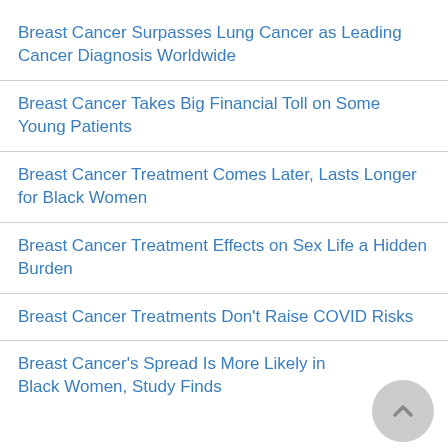Breast Cancer Surpasses Lung Cancer as Leading Cancer Diagnosis Worldwide
Breast Cancer Takes Big Financial Toll on Some Young Patients
Breast Cancer Treatment Comes Later, Lasts Longer for Black Women
Breast Cancer Treatment Effects on Sex Life a Hidden Burden
Breast Cancer Treatments Don't Raise COVID Risks
Breast Cancer's Spread Is More Likely in Black Women, Study Finds